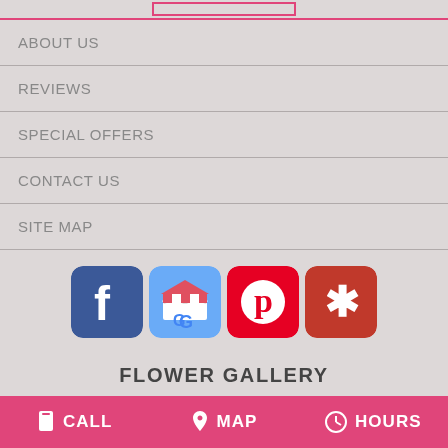ABOUT US
REVIEWS
SPECIAL OFFERS
CONTACT US
SITE MAP
[Figure (logo): Four social media icons: Facebook, Google My Business, Pinterest, Yelp]
FLOWER GALLERY
CALL   MAP   HOURS